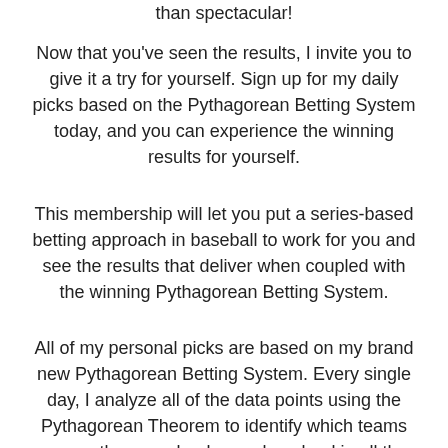than spectacular!
Now that you've seen the results, I invite you to give it a try for yourself. Sign up for my daily picks based on the Pythagorean Betting System today, and you can experience the winning results for yourself.
This membership will let you put a series-based betting approach in baseball to work for you and see the results that deliver when coupled with the winning Pythagorean Betting System.
All of my personal picks are based on my brand new Pythagorean Betting System. Every single day, I analyze all of the data points using the Pythagorean Theorem to identify which teams are vastly overvalued or undervalued in all the major sports. If a highly undervalued team is starting a multi-game series against a highly overvalued team, I will alert you about the scenario so you can wager on the